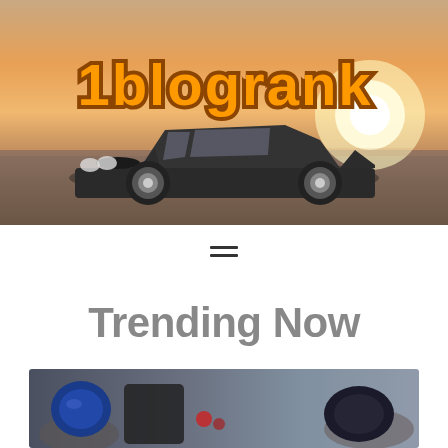[Figure (photo): Classic muscle car (dark Ford Mustang) parked on a runway at sunset with orange sky, with '1blogrank' text overlay in orange bold stylized font]
[Figure (other): Hamburger menu icon (three horizontal lines)]
Trending Now
[Figure (photo): Person in motorcycle gear/leather jacket with helmets and motorcycle equipment outdoors]